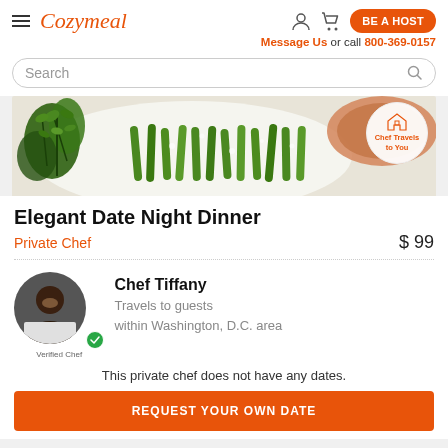Cozymeal | BE A HOST | Message Us or call 800-369-0157
Search
[Figure (photo): Food photo showing green beans and herbs on a white plate, with a 'Chef Travels to You' badge overlay]
Elegant Date Night Dinner
Private Chef  $ 99
Chef Tiffany
Travels to guests within Washington, D.C. area
This private chef does not have any dates.
REQUEST YOUR OWN DATE
or call 800-369-0157